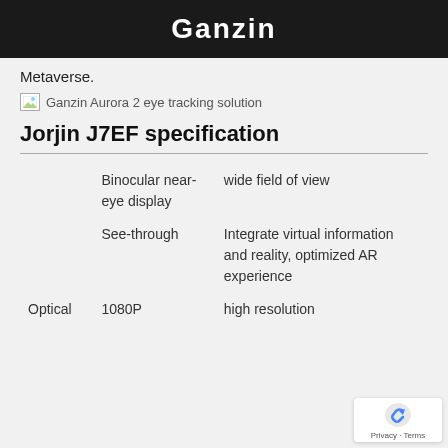Ganzin
Metaverse.
[Figure (photo): Ganzin Aurora 2 eye tracking solution - broken/placeholder image icon with alt text]
Jorjin J7EF specification
|  | Feature | Description |
| --- | --- | --- |
|  | Binocular near-eye display | wide field of view |
|  | See-through | Integrate virtual information and reality, optimized AR experience |
| Optical | 1080P | high resolution |